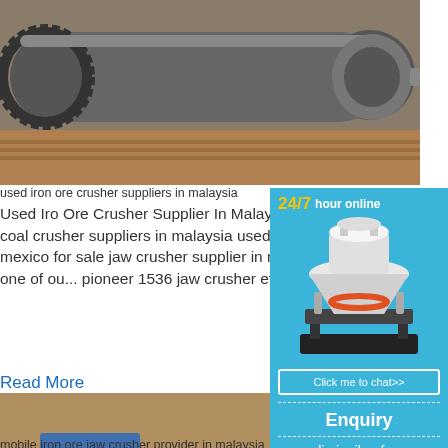[Figure (photo): Industrial ball mill with large gear ring, placed on wooden pallets in a warehouse]
used iron ore crusher suppliers in malaysia
Used Iro Ore Crusher Supplier In Malaysia. Used iron ore impact crusher provider in malaysia Used coal crusher suppliers in malaysia used coal crusher suppliers malaysia mineral ron ore crusher mexico for sale jaw crusher supplier in malaysia items 1 29 of 2... impact crusher provider malaysia one of ou... pioneer 1536 jaw crusher et price and supp...
Read More
[Figure (photo): Mobile iron ore jaw crusher machine operating at an open-pit mine site]
mobile iron ore jaw crusher provider in malaysia
[Figure (infographic): Chat widget sidebar with 24/7 hour online text, cone crusher machine image, Click me to chat button, Enquiry text, and limingjlmofen text on blue background]